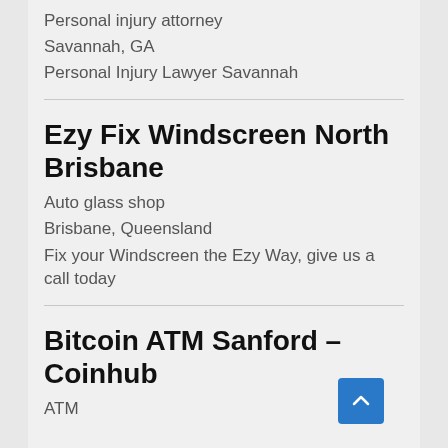Personal injury attorney
Savannah, GA
Personal Injury Lawyer Savannah
Ezy Fix Windscreen North Brisbane
Auto glass shop
Brisbane, Queensland
Fix your Windscreen the Ezy Way, give us a call today
Bitcoin ATM Sanford – Coinhub
ATM